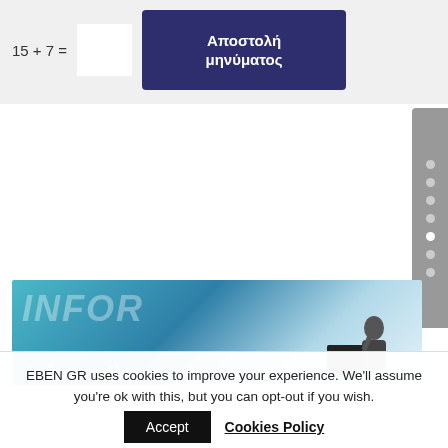[Figure (screenshot): CAPTCHA math problem: '15 + 7 =' with an empty white input box and a dark navy button labeled 'Αποστολή μηνύματος' (Send message) on a light grey background.]
[Figure (screenshot): Sidebar navigation widget with grey background showing 8 dots (bullets), one highlighted white indicating active state.]
[Figure (photo): Banner image with blue gradient background, large italic semi-transparent text 'INFOR...', bold white text 'Information' at the bottom left, and a man in a suit sitting at a desk on the right.]
EBEN GR uses cookies to improve your experience. We'll assume you're ok with this, but you can opt-out if you wish.
Accept  Cookies Policy